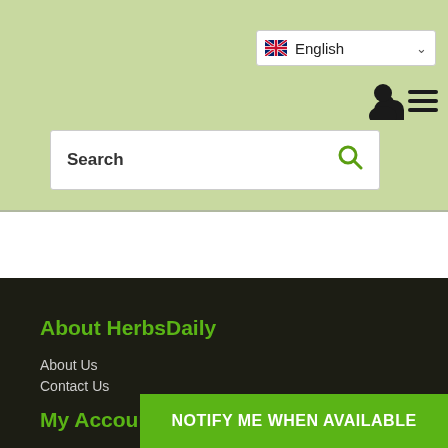[Figure (screenshot): Website header with light green background, language selector showing English with UK flag, user account icon, hamburger menu icon, and a search bar with magnifying glass icon]
About HerbsDaily
About Us
Contact Us
My Account
My account
Addresses
Orders
Shopping
NOTIFY ME WHEN AVAILABLE